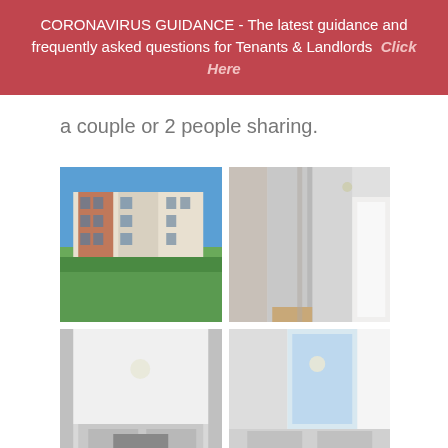CORONAVIRUS GUIDANCE - The latest guidance and frequently asked questions for Tenants & Landlords  Click Here
a couple or 2 people sharing.
[Figure (photo): Exterior view of a modern multi-storey apartment block with brick and white cladding, blue sky, green grass area]
[Figure (photo): Interior hallway of a modern apartment with wood flooring, grey walls, and white doors]
[Figure (photo): Interior living room with grey sofa, white walls, and a TV unit]
[Figure (photo): Interior bedroom or living space with light interior and window with curtains]